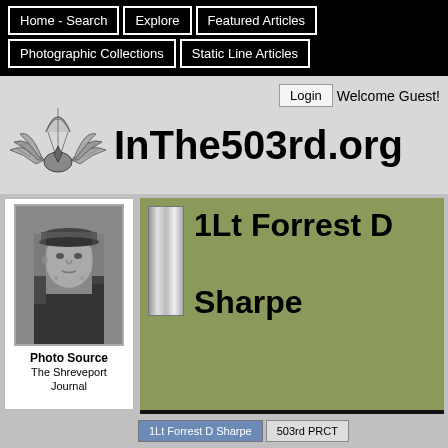Home - Search | Explore | Featured Articles | Photographic Collections | Static Line Articles
Login  Welcome Guest!
InThe503rd.org
[Figure (logo): Airborne wings insignia logo]
[Figure (photo): Black and white portrait photo of a soldier in military uniform and cap]
Photo Source
The Shreveport Journal
1Lt Forrest D Sharpe
1Lt Forrest D Sharpe | 503rd PRCT
Decorations | Documents | Photos